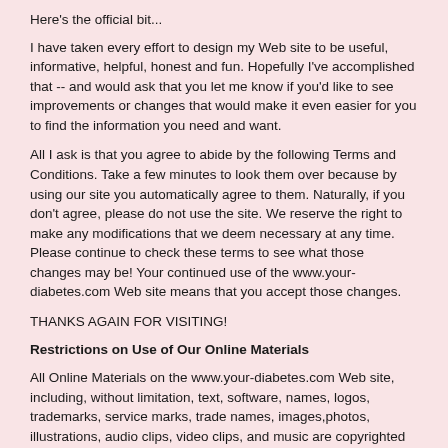Here's the official bit...
I have taken every effort to design my Web site to be useful, informative, helpful, honest and fun. Hopefully I've accomplished that -- and would ask that you let me know if you'd like to see improvements or changes that would make it even easier for you to find the information you need and want.
All I ask is that you agree to abide by the following Terms and Conditions. Take a few minutes to look them over because by using our site you automatically agree to them. Naturally, if you don't agree, please do not use the site. We reserve the right to make any modifications that we deem necessary at any time. Please continue to check these terms to see what those changes may be! Your continued use of the www.your-diabetes.com Web site means that you accept those changes.
THANKS AGAIN FOR VISITING!
Restrictions on Use of Our Online Materials
All Online Materials on the www.your-diabetes.com Web site, including, without limitation, text, software, names, logos, trademarks, service marks, trade names, images,photos, illustrations, audio clips, video clips, and music are copyrighted intellectual property.
You, the visitor, may download Online Materials for non-commercial, personal use only provided you: